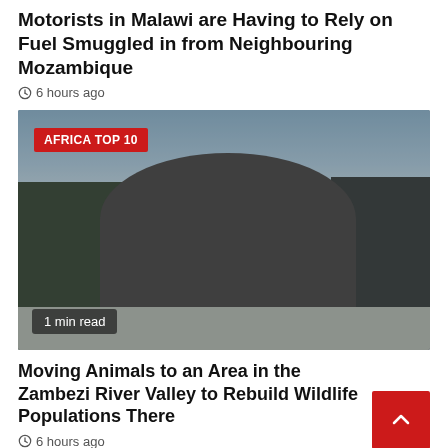Motorists in Malawi are Having to Rely on Fuel Smuggled in from Neighbouring Mozambique
⊙ 6 hours ago
[Figure (photo): Photograph of an elephant being lifted or transported in a large crate/container, viewed from behind. Workers visible alongside. IFAW branding on the crate. Badge overlay reads 'AFRICA TOP 10'. Bottom overlay reads '1 min read'.]
Moving Animals to an Area in the Zambezi River Valley to Rebuild Wildlife Populations There
⊙ 6 hours ago